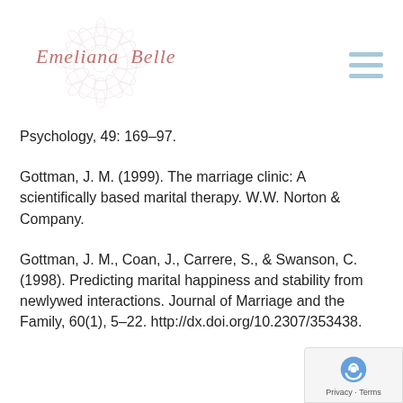Emeliana Belle – logo and navigation
Psychology, 49: 169–97.
Gottman, J. M. (1999). The marriage clinic: A scientifically based marital therapy. W.W. Norton & Company.
Gottman, J. M., Coan, J., Carrere, S., & Swanson, C. (1998). Predicting marital happiness and stability from newlywed interactions. Journal of Marriage and the Family, 60(1), 5–22. http://dx.doi.org/10.2307/353438.